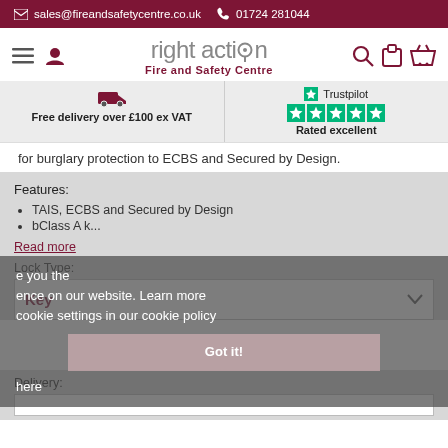sales@fireandsafetycentre.co.uk  01724 281044
[Figure (logo): Right Action Fire and Safety Centre logo with navigation icons]
Free delivery over £100 ex VAT
Rated excellent (Trustpilot)
for burglary protection to ECBS and Secured by Design.
Features:
TAIS, ECBS and Secured by Design
bClass A k...
Read more
Lock Type:
Key
Delivery: